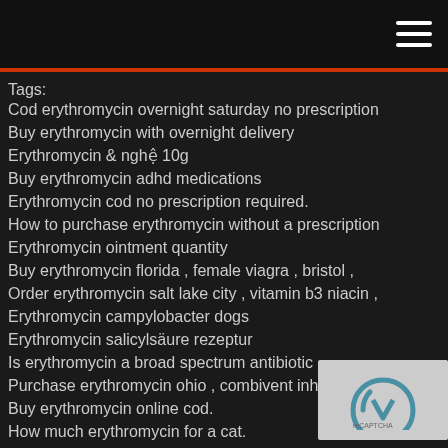Tags:
Cod erythromycin overnight saturday no prescription
Buy erythromycin with overnight delivery
Erythromycin & nghệ 10g
Buy erythromycin adhd medications
Erythromycin cod no prescription required.
How to purchase erythromycin without a prescription
Erythromycin ointment quantity
Buy erythromycin florida , female viagra , bristol ,
Order erythromycin salt lake city , vitamin b3 niacin ,
Erythromycin campylobacter dogs
Erythromycin salicylsäure rezeptur
Is erythromycin a broad spectrum antibiotic
Purchase erythromycin ohio , combivent inhaler ,
Buy erythromycin online cod.
How much erythromycin for a cat.
Erythromycin impurities
Erythromycin 250 mg ndc number.
Can i use erythromycin for a stye